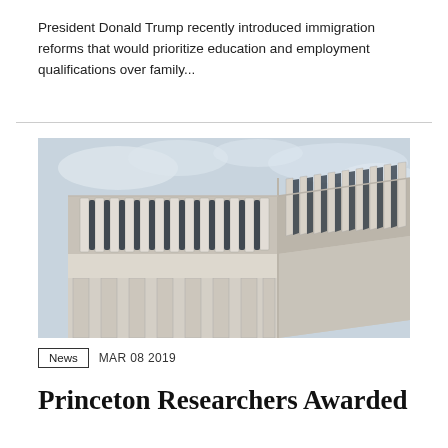President Donald Trump recently introduced immigration reforms that would prioritize education and employment qualifications over family...
[Figure (photo): Exterior corner view of a modernist concrete building with vertical fins along the upper facade and arched columns below, photographed against a partly cloudy sky.]
News   MAR 08 2019
Princeton Researchers Awarded